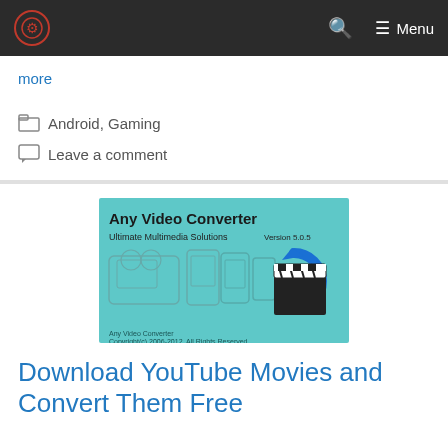Menu
more
Android, Gaming
Leave a comment
[Figure (screenshot): Any Video Converter promotional image showing Version 5.0.5, Ultimate Multimedia Solutions, with device icons including PSP, mobile phones, and a film clapperboard with a blue conversion arrow. Copyright 2006-2012 All Rights Reserved.]
Download YouTube Movies and Convert Them Free